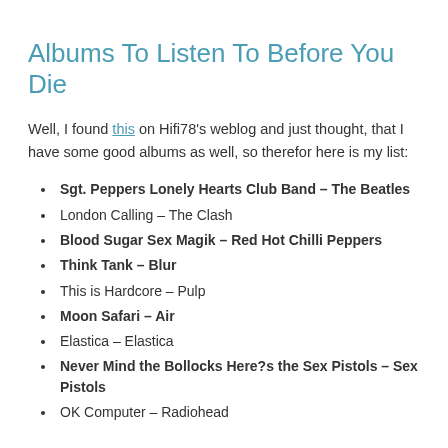Albums To Listen To Before You Die
Well, I found this on Hifi78’s weblog and just thought, that I have some good albums as well, so therefor here is my list:
Sgt. Peppers Lonely Hearts Club Band – The Beatles
London Calling – The Clash
Blood Sugar Sex Magik – Red Hot Chilli Peppers
Think Tank – Blur
This is Hardcore – Pulp
Moon Safari – Air
Elastica – Elastica
Never Mind the Bollocks Here?s the Sex Pistols – Sex Pistols
OK Computer – Radiohead